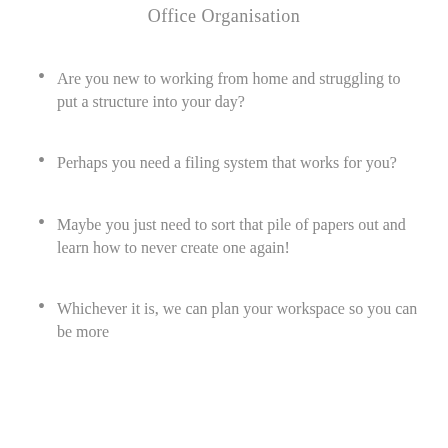Office Organisation
Are you new to working from home and struggling to put a structure into your day?
Perhaps you need a filing system that works for you?
Maybe you just need to sort that pile of papers out and learn how to never create one again!
Whichever it is, we can plan your workspace so you can be more